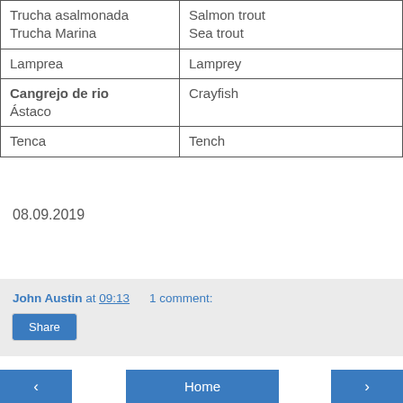| Spanish | English |
| --- | --- |
| Trucha asalmonada
Trucha Marina | Salmon trout
Sea trout |
| Lamprea | Lamprey |
| Cangrejo de rio
Ástaco | Crayfish |
| Tenca | Tench |
08.09.2019
John Austin at 09:13   1 comment:
Share
‹   Home   ›